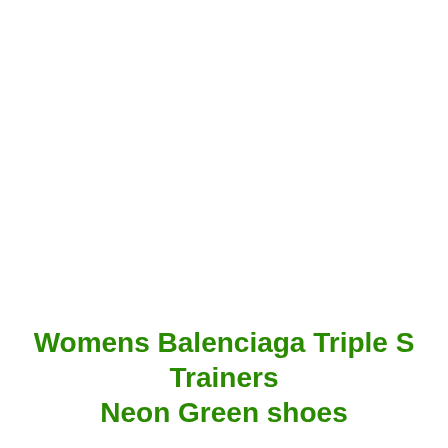Womens Balenciaga Triple S Trainers Neon Green shoes